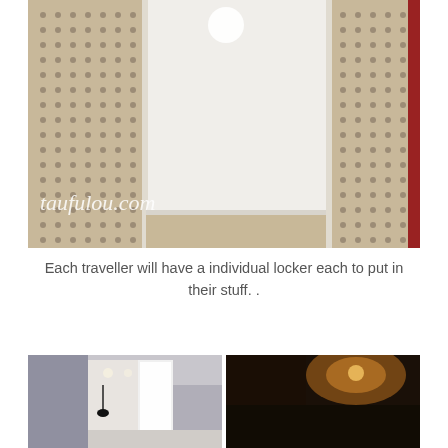[Figure (photo): Interior photo of an individual locker unit with perforated metal side panels in beige/gold tone and a white interior, watermark 'taufulou.com' in white italic text at bottom left]
Each traveller will have a individual locker each to put in their stuff. .
[Figure (photo): Two side-by-side photos of hotel/hostel interior spaces — left shows a bright corridor with recessed lighting and a window, right shows a dimly lit room with warm amber lighting]